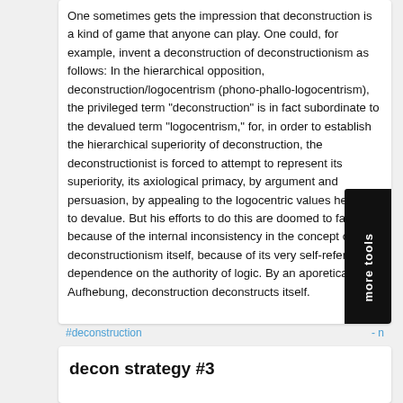One sometimes gets the impression that deconstruction is a kind of game that anyone can play. One could, for example, invent a deconstruction of deconstructionism as follows: In the hierarchical opposition, deconstruction/logocentrism (phono-phallo-logocentrism), the privileged term "deconstruction" is in fact subordinate to the devalued term "logocentrism," for, in order to establish the hierarchical superiority of deconstruction, the deconstructionist is forced to attempt to represent its superiority, its axiological primacy, by argument and persuasion, by appealing to the logocentric values he tries to devalue. But his efforts to do this are doomed to failure because of the internal inconsistency in the concept of deconstructionism itself, because of its very self-referential dependence on the authority of logic. By an aporetical Aufhebung, deconstruction deconstructs itself.
#deconstruction
- n...
decon strategy #3